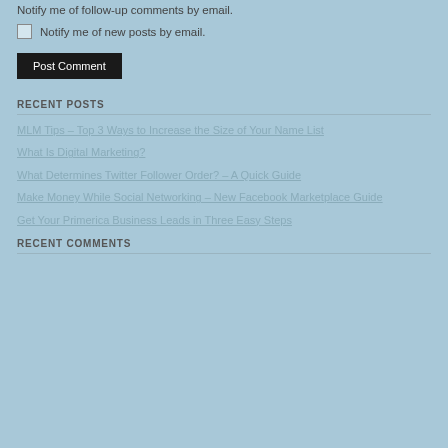Notify me of follow-up comments by email.
Notify me of new posts by email.
Post Comment
RECENT POSTS
MLM Tips – Top 3 Ways to Increase the Size of Your Name List
What Is Digital Marketing?
What Determines Twitter Follower Order? – A Quick Guide
Make Money While Social Networking – New Facebook Marketplace Guide
Get Your Primerica Business Leads in Three Easy Steps
RECENT COMMENTS